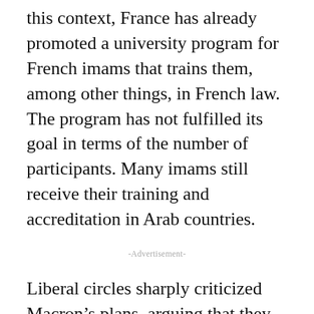this context, France has already promoted a university program for French imams that trains them, among other things, in French law. The program has not fulfilled its goal in terms of the number of participants. Many imams still receive their training and accreditation in Arab countries.
-Advertisement-
Liberal circles sharply criticized Macron’s plans, arguing that they do not conform to French liberal values, that they violate French republican laws of non-interference in religious affairs, that they contradict citizens’ freedom of religion, and that the French authorities use terrorist attacks to promote a nationalist agenda. Conversely, far-right circles persist in their arguments that Muslims in France present an inherent danger to the French republic as they do not wish to integrate but to